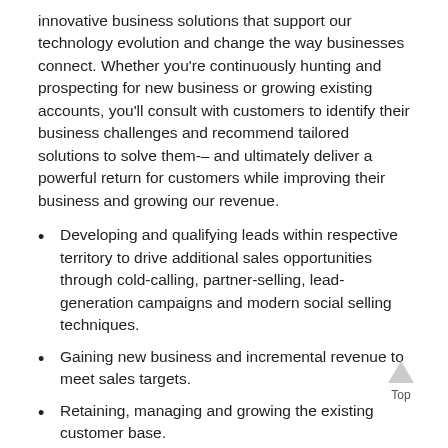innovative business solutions that support our technology evolution and change the way businesses connect. Whether you're continuously hunting and prospecting for new business or growing existing accounts, you'll consult with customers to identify their business challenges and recommend tailored solutions to solve them-– and ultimately deliver a powerful return for customers while improving their business and growing our revenue.
Developing and qualifying leads within respective territory to drive additional sales opportunities through cold-calling, partner-selling, lead-generation campaigns and modern social selling techniques.
Gaining new business and incremental revenue to meet sales targets.
Retaining, managing and growing the existing customer base.
Educating and exciting customers while leveraging innovative business solutions.
Building relationships with key decision makers.
Presenting and creating multi product solution opportunities.